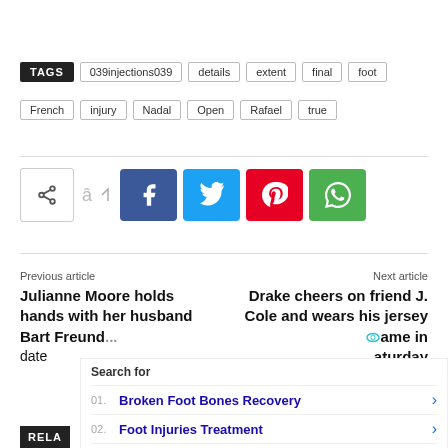TAGS  039injections039  details  extent  final  foot  French  injury  Nadal  Open  Rafael  true
[Figure (infographic): Social share buttons: share icon toggle, Facebook (blue), Twitter (cyan), Pinterest (red), WhatsApp (green)]
Previous article
Julianne Moore holds hands with her husband Bart Freund... date
Next article
Drake cheers on friend J. Cole and wears his jersey ...ame in ...aturday
Search for
01. Broken Foot Bones Recovery
02. Foot Injuries Treatment
Yahoo! Search | Sponsored
RELA